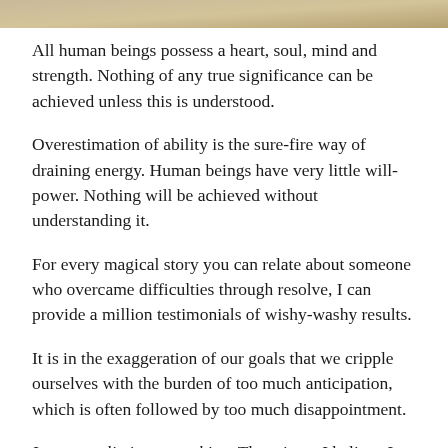[Figure (photo): Partial image at top of page with warm sandy/golden tones]
All human beings possess a heart, soul, mind and strength. Nothing of any true significance can be achieved unless this is understood.
Overestimation of ability is the sure-fire way of draining energy. Human beings have very little will-power. Nothing will be achieved without understanding it.
For every magical story you can relate about someone who overcame difficulties through resolve, I can provide a million testimonials of wishy-washy results.
It is in the exaggeration of our goals that we cripple ourselves with the burden of too much anticipation, which is often followed by too much disappointment.
I can not eliminate anything. The minute I believe I can, I